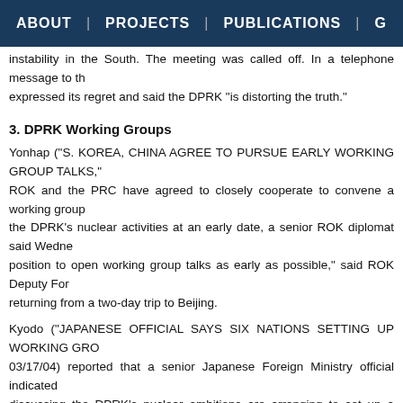ABOUT | PROJECTS | PUBLICATIONS | G
instability in the South. The meeting was called off. In a telephone message to th expressed its regret and said the DPRK "is distorting the truth."
3. DPRK Working Groups
Yonhap ("S. KOREA, CHINA AGREE TO PURSUE EARLY WORKING GROUP TALKS," ROK and the PRC have agreed to closely cooperate to convene a working group the DPRK's nuclear activities at an early date, a senior ROK diplomat said Wedne position to open working group talks as early as possible," said ROK Deputy For returning from a two-day trip to Beijing.
Kyodo ("JAPANESE OFFICIAL SAYS SIX NATIONS SETTING UP WORKING GRO 03/17/04) reported that a senior Japanese Foreign Ministry official indicated discussing the DPRK's nuclear ambitions are arranging to set up a preparatory The official, speaking on condition of anonymity, also said senior officials from Ja to coordinate policy before the group is established. Asked if the group wil responded, "I think so." He added that the six nations, which also include the PRC to set a specific agenda for establishing the working group.
4. Japan DPRK Ship Ban Bill